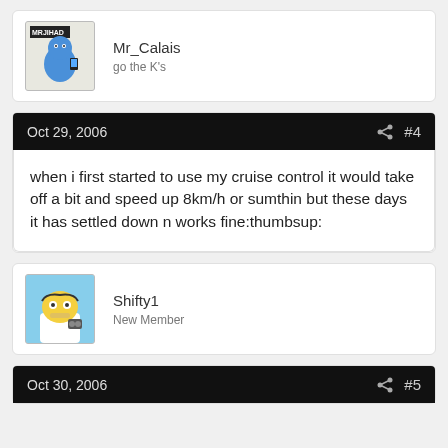Mr_Calais
go the K's
Oct 29, 2006  #4
when i first started to use my cruise control it would take off a bit and speed up 8km/h or sumthin but these days it has settled down n works fine:thumbsup:
Shifty1
New Member
Oct 30, 2006  #5